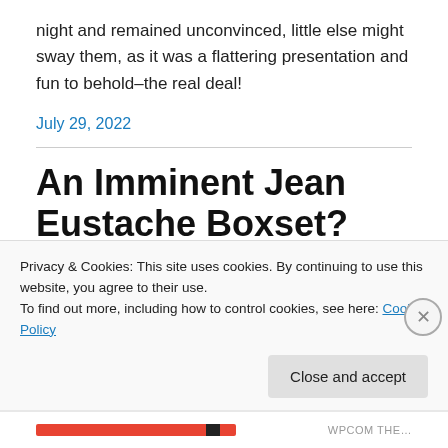night and remained unconvinced, little else might sway them, as it was a flattering presentation and fun to behold–the real deal!
July 29, 2022
An Imminent Jean Eustache Boxset?
← Tweet
Privacy & Cookies: This site uses cookies. By continuing to use this website, you agree to their use.
To find out more, including how to control cookies, see here: Cookie Policy